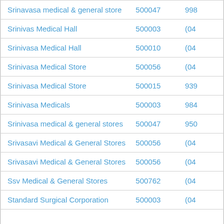| Name | PIN | Phone |
| --- | --- | --- |
| Srinavasa medical & general store | 500047 | 998... |
| Srinivas Medical Hall | 500003 | (04... |
| Srinivasa Medical Hall | 500010 | (04... |
| Srinivasa Medical Store | 500056 | (04... |
| Srinivasa Medical Store | 500015 | 939... |
| Srinivasa Medicals | 500003 | 984... |
| Srinivasa medical & general stores | 500047 | 950... |
| Srivasavi Medical & General Stores | 500056 | (04... |
| Srivasavi Medical & General Stores | 500056 | (04... |
| Ssv Medical & General Stores | 500762 | (04... |
| Standard Surgical Corporation | 500003 | (04... |